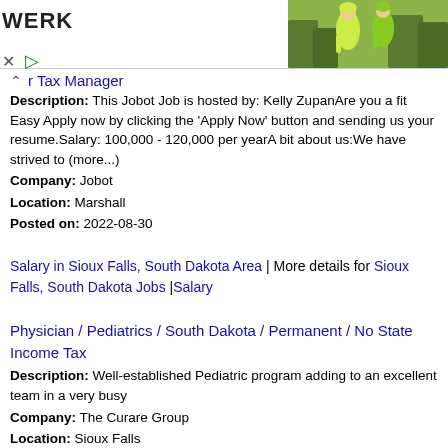[Figure (photo): Advertisement banner with text WERK and photo of two cyclists in green jackets]
r Tax Manager
Description: This Jobot Job is hosted by: Kelly ZupanAre you a fit Easy Apply now by clicking the 'Apply Now' button and sending us your resume.Salary: 100,000 - 120,000 per yearA bit about us:We have strived to (more...)
Company: Jobot
Location: Marshall
Posted on: 2022-08-30
Salary in Sioux Falls, South Dakota Area | More details for Sioux Falls, South Dakota Jobs |Salary
Physician / Pediatrics / South Dakota / Permanent / No State Income Tax
Description: Well-established Pediatric program adding to an excellent team in a very busy
Company: The Curare Group
Location: Sioux Falls
Posted on: 2022-09-02